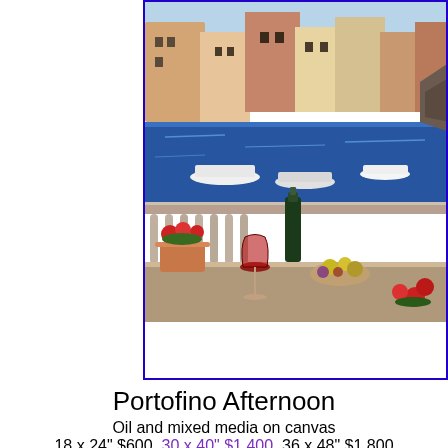[Figure (photo): Oil painting of Portofino harbor showing a balcony with wine bottle, wine glass, fruit bowl, and flower pot in foreground, with colorful Italian buildings, boats, and blue harbor water in background]
Portofino Afternoon
Oil and mixed media on canvas
18 x 24" $600, 30 x 40" $1,400, 36 x 48" $1,800
Limited edition
On display now!
[Figure (photo): Oil painting of a vineyard landscape viewed through stone archways, with golden autumn foliage and rolling hills in background]